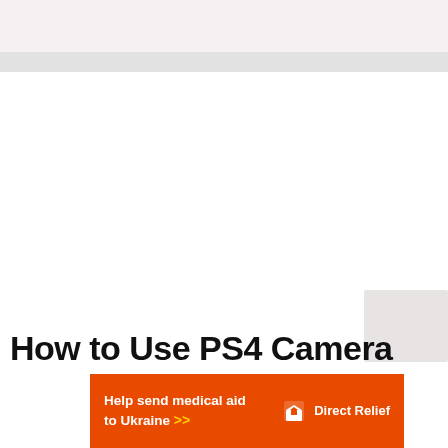[Figure (screenshot): White content area with a small gray thumbnail image in the bottom-right corner, typical of a web article page]
How to Use PS4 Camera
[Figure (infographic): Orange advertisement banner reading 'Help send medical aid to Ukraine >>' with Direct Relief logo on the right]